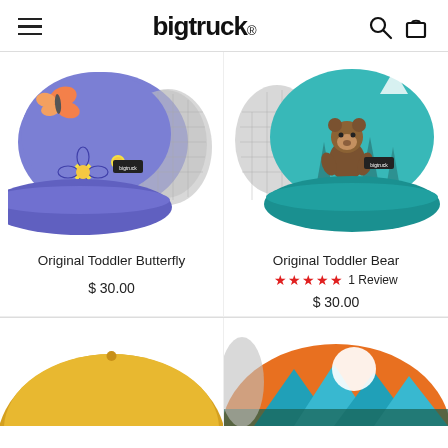bigtruck.
[Figure (photo): Purple/blue trucker cap with butterfly and flower design, light gray mesh back, purple brim, bigtruck label]
[Figure (photo): Teal/turquoise trucker cap with bear and trees design, gray mesh back, teal brim, bigtruck label]
Original Toddler Butterfly
Original Toddler Bear
★★★★★ 1 Review
$ 30.00
$ 30.00
[Figure (photo): Yellow/gold trucker cap, partial view from below showing yellow brim and panels]
[Figure (photo): Colorful trucker cap with mountain sunset scene in orange, teal, and gray, partial view]